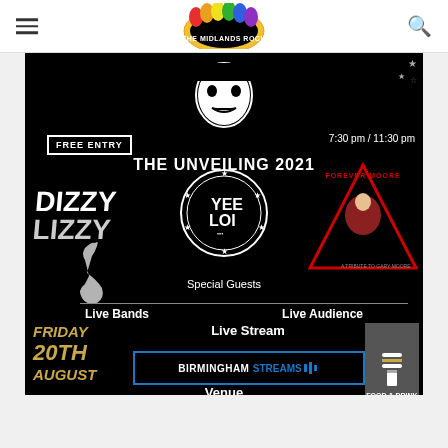THE MIDLANDS ROCK (logo with hamburger menu and search icon)
[Figure (infographic): Event poster on black background for 'The Unveiling 2021' event. Features: FREE ENTRY label, 7:30 pm / 11:30 pm times, Dizzy Lizzy band logo, Yee Loi circular logo, Forever Moore triangle logo, guitarist silhouette, Special Guests text, Live Bands | Live Audience | Live Stream text, Friday 20th August date in gold italic, Birmingham Streams venue box, Venue text, 35 Lichfield Rd B6 5RW address, Food & Drink icon, Heritage Fund logo.]